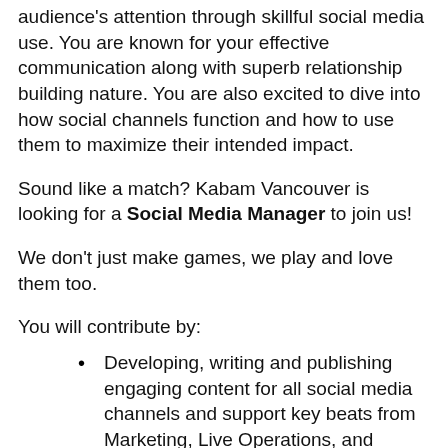audience's attention through skillful social media use. You are known for your effective communication along with superb relationship building nature. You are also excited to dive into how social channels function and how to use them to maximize their intended impact.
Sound like a match? Kabam Vancouver is looking for a Social Media Manager to join us!
We don't just make games, we play and love them too.
You will contribute by:
Developing, writing and publishing engaging content for all social media channels and support key beats from Marketing, Live Operations, and Product Development while ensuring that the tone of voice and brand standards are followed
Develop acquisition campaigns leveraging content creators, influencers and agency partners in